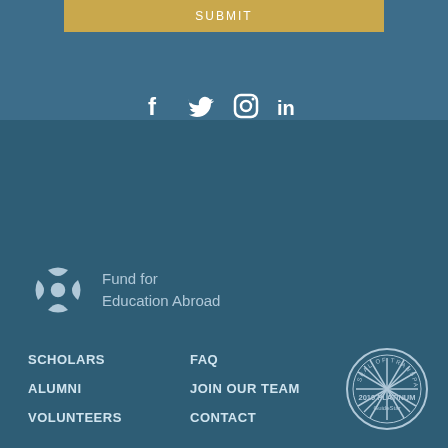[Figure (other): Submit button (gold/tan background) at top of page]
[Figure (infographic): Social media icons: Facebook, Twitter, Instagram, LinkedIn in white on teal background]
[Figure (logo): Fund for Education Abroad logo with abstract symbol and text]
SCHOLARS
ALUMNI
VOLUNTEERS
FAQ
JOIN OUR TEAM
CONTACT
IMPACT REPORT 2020
[Figure (logo): GuideStar 2019 Platinum Seal of Transparency badge]
© 2020 Fund for Education Abroad